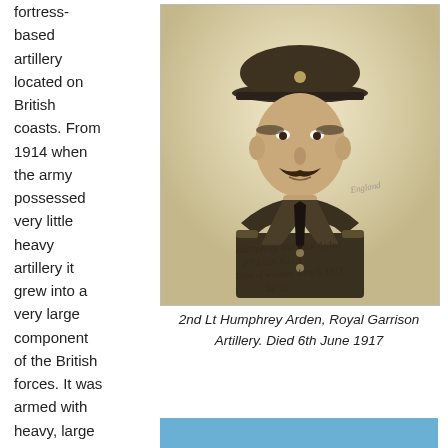fortress-based artillery located on British coasts. From 1914 when the army possessed very little heavy artillery it grew into a very large component of the British forces. It was armed with heavy, large calibre guns
[Figure (photo): Sepia portrait photograph of 2nd Lt Humphrey Warwick Arden in military uniform with peaked cap and moustache. Handwritten inscription reads: Humphrey Warwick Arden, 2nd Lieut. R.G.A. Died of wounds. June 6. 1917. At: 25.]
2nd Lt Humphrey Arden, Royal Garrison Artillery. Died 6th June 1917
[Figure (photo): Partial blue/sky-coloured image visible at bottom right of page]